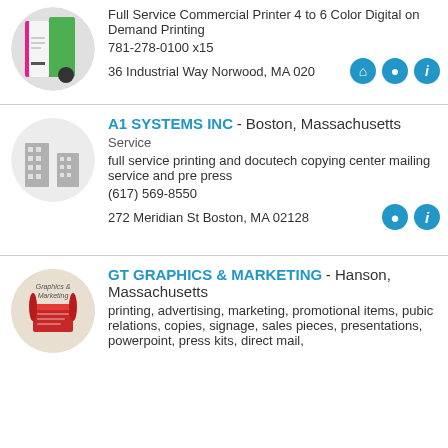[Figure (photo): Circular logo/photo for first business listing (printing company with colorful brochure)]
Full Service Commercial Printer 4 to 6 Color Digital on Demand Printing
781-278-0100 x15
36 Industrial Way Norwood, MA 020...
[Figure (illustration): Gray building icon inside circle for A1 Systems Inc]
A1 SYSTEMS INC - Boston, Massachusetts
Service
full service printing and docutech copying center mailing service and pre press
(617) 569-8550
272 Meridian St Boston, MA 02128
[Figure (photo): Circular logo/photo for GT Graphics & Marketing showing printed materials]
GT GRAPHICS & MARKETING - Hanson, Massachusetts
printing, advertising, marketing, promotional items, pubic relations, copies, signage, sales pieces, presentations, powerpoint, press kits, direct mail,